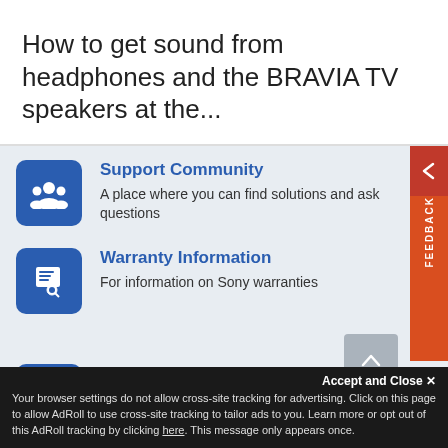How to get sound from headphones and the BRAVIA TV speakers at the...
[Figure (illustration): Support Community icon - white silhouette of three people on blue rounded square background]
Support Community
A place where you can find solutions and ask questions
[Figure (illustration): Warranty Information icon - white certificate/document on blue rounded square background]
Warranty Information
For information on Sony warranties
[Figure (illustration): Partially visible blue icon for Spare Parts Distributor]
Spare Parts Distributor
Accept and Close ×
Your browser settings do not allow cross-site tracking for advertising. Click on this page to allow AdRoll to use cross-site tracking to tailor ads to you. Learn more or opt out of this AdRoll tracking by clicking here. This message only appears once.